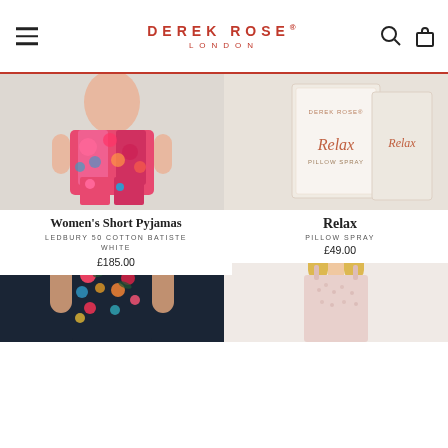DEREK ROSE LONDON
[Figure (photo): Woman wearing floral short pyjamas - Women's Short Pyjamas Ledbury 50 Cotton Batiste White]
[Figure (photo): Relax Pillow Spray product packaging by Derek Rose]
Women's Short Pyjamas
LEDBURY 50 COTTON BATISTE WHITE
£185.00
Relax
PILLOW SPRAY
£49.00
[Figure (photo): Woman wearing dark floral pyjama set]
[Figure (photo): Blonde woman wearing light pink camisole]